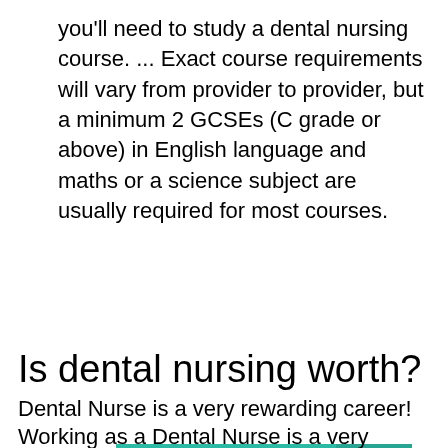you'll need to study a dental nursing course. ... Exact course requirements will vary from provider to provider, but a minimum 2 GCSEs (C grade or above) in English language and maths or a science subject are usually required for most courses.
[Figure (infographic): Teal banner with bold text: IMPORTANT: Can stress ruin your teeth? with a right-pointing chevron arrow on a darker teal background on the right side.]
Is dental nursing worth?
Dental Nurse is a very rewarding career!
Working as a Dental Nurse is a very rewarding career. ... No two days are the same and there is always something to